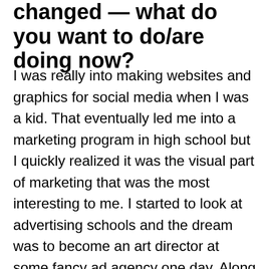changed — what do you want to do/are doing now?
I was really into making websites and graphics for social media when I was a kid. That eventually led me into a marketing program in high school but I quickly realized it was the visual part of marketing that was the most interesting to me. I started to look at advertising schools and the dream was to become an art director at some fancy ad agency one day. Along the way I learned that I wanted to steer away from the ad industry and focus on graphic design and branding. I was accepted to Berghs School of